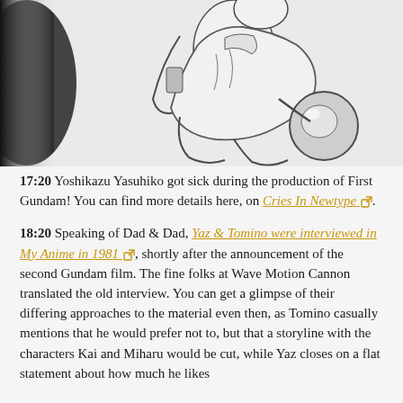[Figure (illustration): Black and white manga/anime style illustration showing a character in a crouching or action pose, holding what appears to be equipment or a weapon. The image is partially cropped with a dark shadow on the left side.]
17:20 Yoshikazu Yasuhiko got sick during the production of First Gundam! You can find more details here, on Cries In Newtype [external link].
18:20 Speaking of Dad & Dad, Yaz & Tomino were interviewed in My Anime in 1981 [external link], shortly after the announcement of the second Gundam film. The fine folks at Wave Motion Cannon translated the old interview. You can get a glimpse of their differing approaches to the material even then, as Tomino casually mentions that he would prefer not to, but that a storyline with the characters Kai and Miharu would be cut, while Yaz closes on a flat statement about how much he likes